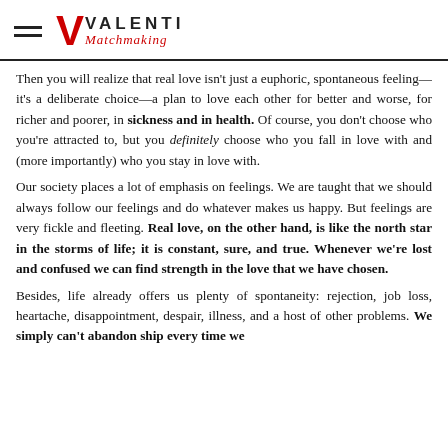VALENTI Matchmaking
Then you will realize that real love isn't just a euphoric, spontaneous feeling—it's a deliberate choice—a plan to love each other for better and worse, for richer and poorer, in sickness and in health. Of course, you don't choose who you're attracted to, but you definitely choose who you fall in love with and (more importantly) who you stay in love with.
Our society places a lot of emphasis on feelings. We are taught that we should always follow our feelings and do whatever makes us happy. But feelings are very fickle and fleeting. Real love, on the other hand, is like the north star in the storms of life; it is constant, sure, and true. Whenever we're lost and confused we can find strength in the love that we have chosen.
Besides, life already offers us plenty of spontaneity: rejection, job loss, heartache, disappointment, despair, illness, and a host of other problems. We simply can't abandon ship every time we